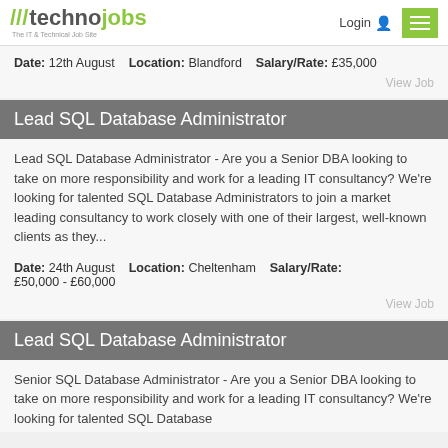///technojobs – The IT & Technical Job Site | Login | Menu
Date: 12th August   Location: Blandford   Salary/Rate: £35,000
View Job
Lead SQL Database Administrator
Lead SQL Database Administrator - Are you a Senior DBA looking to take on more responsibility and work for a leading IT consultancy? We're looking for talented SQL Database Administrators to join a market leading consultancy to work closely with one of their largest, well-known clients as they...
Date: 24th August   Location: Cheltenham   Salary/Rate: £50,000 - £60,000
View Job
Lead SQL Database Administrator
Senior SQL Database Administrator - Are you a Senior DBA looking to take on more responsibility and work for a leading IT consultancy? We're looking for talented SQL Database